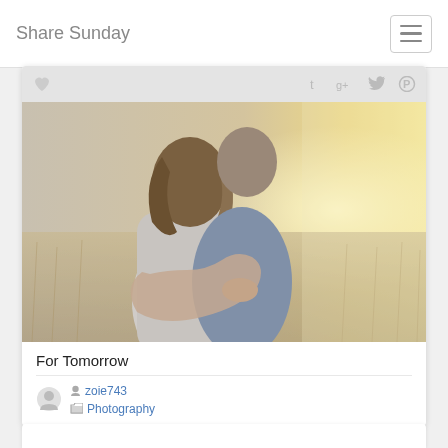Share Sunday
[Figure (photo): A couple embracing in a sunlit field, woman in grey t-shirt hugging a person in blue from behind, warm golden light in background]
For Tomorrow
zoie743
Photography